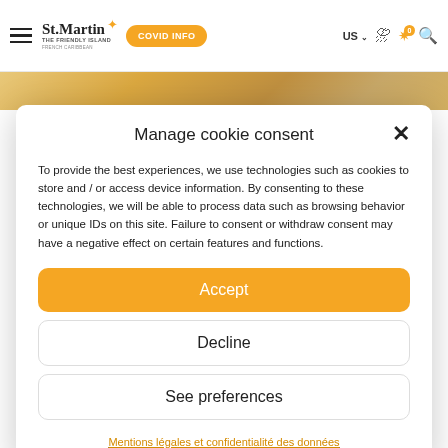[Figure (screenshot): St. Martin The Friendly Island website navigation bar with hamburger menu, logo, COVID INFO button, US language selector, weather icon, and search icon]
[Figure (photo): Partial sunset/landscape image strip at the top of the webpage]
Manage cookie consent
To provide the best experiences, we use technologies such as cookies to store and / or access device information. By consenting to these technologies, we will be able to process data such as browsing behavior or unique IDs on this site. Failure to consent or withdraw consent may have a negative effect on certain features and functions.
Accept
Decline
See preferences
Mentions légales et confidentialité des données